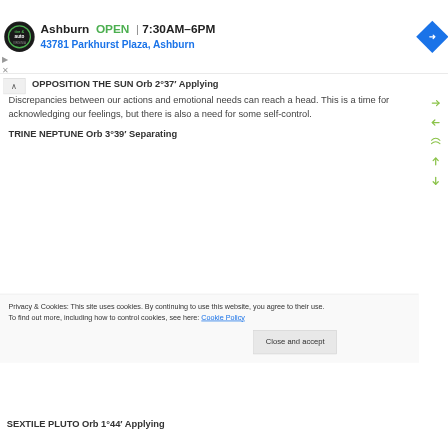[Figure (screenshot): Ad banner for Virginia Tire & Auto, Ashburn location. Logo on left, business name 'Ashburn', OPEN status in green, hours '7:30AM–6PM', address '43781 Parkhurst Plaza, Ashburn' in blue, navigation icon on right.]
OPPOSITION THE SUN Orb 2°37′ Applying
Discrepancies between our actions and emotional needs can reach a head. This is a time for acknowledging our feelings, but there is also a need for some self-control.
TRINE NEPTUNE Orb 3°39′ Separating
Privacy & Cookies: This site uses cookies. By continuing to use this website, you agree to their use.
To find out more, including how to control cookies, see here: Cookie Policy
SEXTILE PLUTO Orb 1°44′ Applying